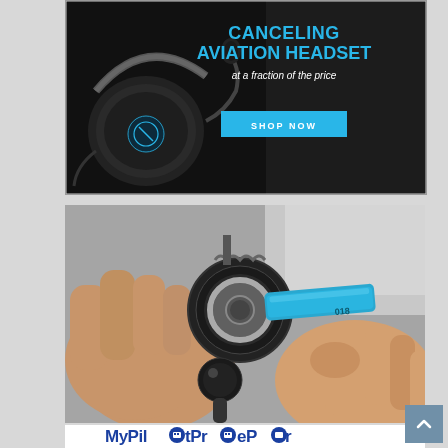[Figure (photo): Advertisement banner for an aviation noise-canceling headset on dark background. Text reads 'CANCELING AVIATION HEADSET at a fraction of the price' with a 'SHOP NOW' blue button. A black aviation headset is shown on the left side of the banner.]
[Figure (photo): Close-up photograph of hands assembling or adjusting a mount mechanism with a blue anodized aluminum arm labeled '018'. A black ball-head mount is visible at the bottom.]
[Figure (illustration): MyPilotPro brand logo bar at the bottom of the page, with stylized text in dark blue.]